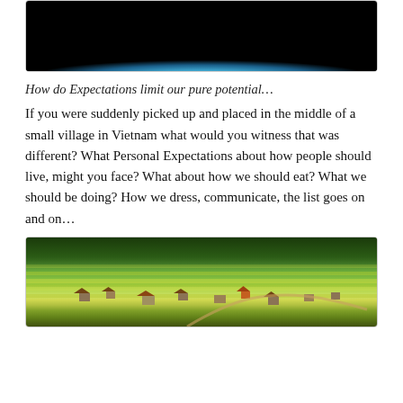[Figure (photo): Bottom half of Earth from space showing blue atmosphere glow against black background]
How do Expectations limit our pure potential…
If you were suddenly picked up and placed in the middle of a small village in Vietnam what would you witness that was different? What Personal Expectations about how people should live, might you face? What about how we should eat? What we should be doing? How we dress, communicate, the list goes on and on…
[Figure (photo): Aerial view of a small Vietnamese village surrounded by terraced rice fields and trees]